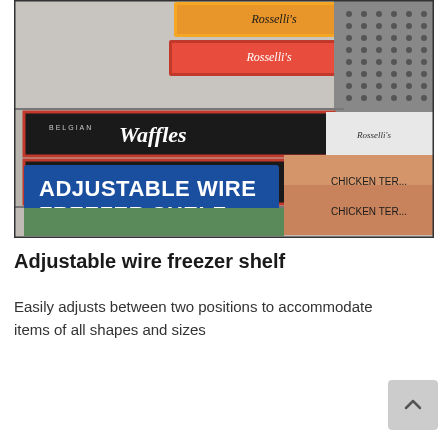[Figure (photo): Photo of an open freezer with various food items on wire shelves. Visible products include Rosselli's and Belgian Waffles boxes on upper shelves, and Chicken Teriyaki boxes on the right. A large blue banner overlay reads 'ADJUSTABLE WIRE FREEZER SHELF' in bold white text. A vented panel is visible on the upper right.]
Adjustable wire freezer shelf
Easily adjusts between two positions to accommodate items of all shapes and sizes